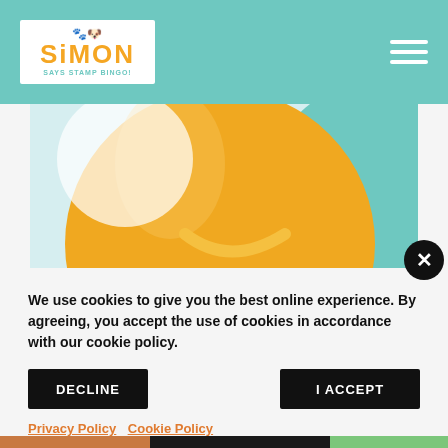Simon Says Stamp Bingo! navigation header
[Figure (illustration): Close-up of colorful balloon decorations — large yellow/orange balloon in center, teal balloon to the right, light background]
We use cookies to give you the best online experience. By agreeing, you accept the use of cookies in accordance with our cookie policy.
DECLINE
I ACCEPT
Privacy Policy   Cookie Policy
[Figure (photo): Bottom strip showing partial Halloween-themed stamp images]